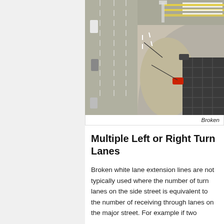[Figure (photo): Aerial/overhead photograph of a road intersection showing lane markings, turn lanes, broken white lane extension lines, and vehicles. A red vehicle and a white vehicle are visible, along with yellow and white road markings.]
Broken
Multiple Left or Right Turn Lanes
Broken white lane extension lines are not typically used where the number of turn lanes on the side street is equivalent to the number of receiving through lanes on the major street. For example if two